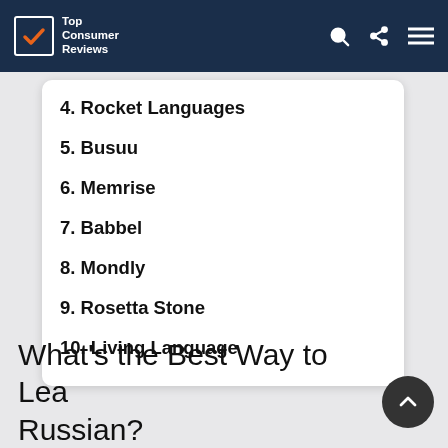Top Consumer Reviews
4. Rocket Languages
5. Busuu
6. Memrise
7. Babbel
8. Mondly
9. Rosetta Stone
10. Living Language
What's the Best Way to Learn Russian?